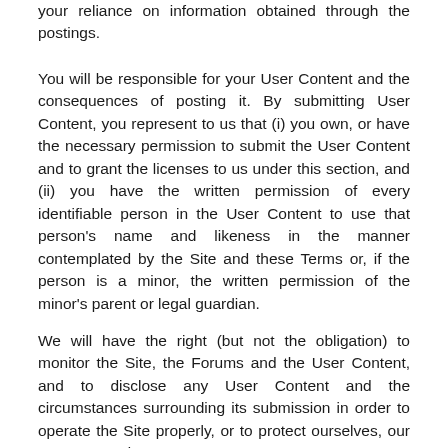your reliance on information obtained through the postings.
You will be responsible for your User Content and the consequences of posting it. By submitting User Content, you represent to us that (i) you own, or have the necessary permission to submit the User Content and to grant the licenses to us under this section, and (ii) you have the written permission of every identifiable person in the User Content to use that person's name and likeness in the manner contemplated by the Site and these Terms or, if the person is a minor, the written permission of the minor's parent or legal guardian.
We will have the right (but not the obligation) to monitor the Site, the Forums and the User Content, and to disclose any User Content and the circumstances surrounding its submission in order to operate the Site properly, or to protect ourselves, our sponsors and our